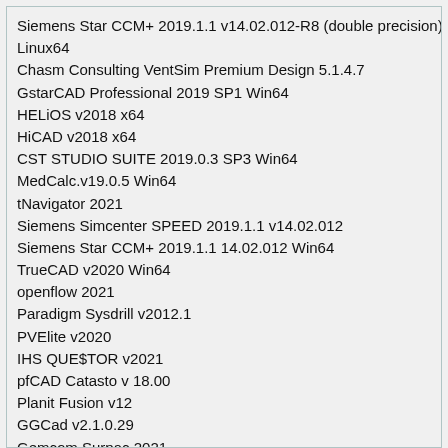Siemens Star CCM+ 2019.1.1 v14.02.012-R8 (double precision)
Linux64
Chasm Consulting VentSim Premium Design 5.1.4.7
GstarCAD Professional 2019 SP1 Win64
HELiOS v2018 x64
HiCAD v2018 x64
CST STUDIO SUITE 2019.0.3 SP3 Win64
MedCalc.v19.0.5 Win64
tNavigator 2021
Siemens Simcenter SPEED 2019.1.1 v14.02.012
Siemens Star CCM+ 2019.1.1 14.02.012 Win64
TrueCAD v2020 Win64
openflow 2021
Paradigm Sysdrill v2012.1
PVElite v2020
IHS QUE$TOR v2021
pfCAD Catasto v 18.00
Planit Fusion v12
GGCad v2.1.0.29
Gemcom Surpac 2021
Holophase.CIRCAD.v4.20e
Geographix DISCOVERY GVERSE Attributes 2016.1
discovery v2019
Itasca FLAC3D v6.00.69 x64
DR.TECHNOLOGY.ESPRIT.2019.R1